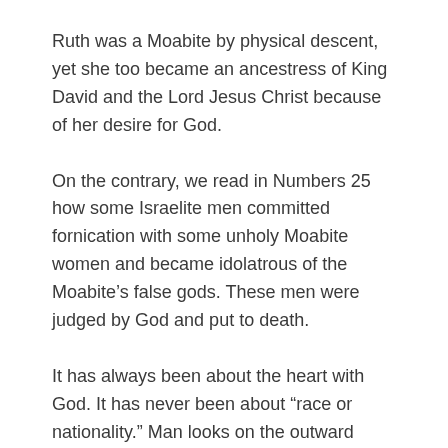Ruth was a Moabite by physical descent, yet she too became an ancestress of King David and the Lord Jesus Christ because of her desire for God.
On the contrary, we read in Numbers 25 how some Israelite men committed fornication with some unholy Moabite women and became idolatrous of the Moabite’s false gods. These men were judged by God and put to death.
It has always been about the heart with God. It has never been about “race or nationality.” Man looks on the outward appearance but God looks on the heart (1 Samuel 16:7).
May I encourage you not to miss this truth within the